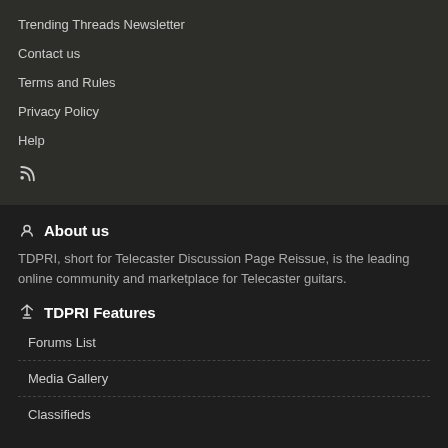Trending Threads Newsletter
Contact us
Terms and Rules
Privacy Policy
Help
RSS icon
About us
TDPRI, short for Telecaster Discussion Page Reissue, is the leading online community and marketplace for Telecaster guitars.
TDPRI Features
Forums List
Media Gallery
Classifieds